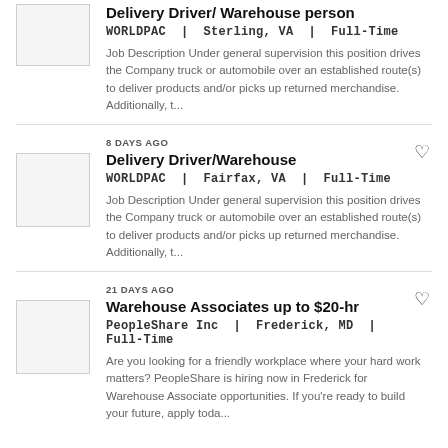Delivery Driver/Warehouse person
WORLDPAC | Sterling, VA | Full-Time
Job Description Under general supervision this position drives the Company truck or automobile over an established route(s) to deliver products and/or picks up returned merchandise. Additionally, t...
8 DAYS AGO
Delivery Driver/Warehouse
WORLDPAC | Fairfax, VA | Full-Time
Job Description Under general supervision this position drives the Company truck or automobile over an established route(s) to deliver products and/or picks up returned merchandise. Additionally, t...
21 DAYS AGO
Warehouse Associates up to $20-hr
PeopleShare Inc | Frederick, MD | Full-Time
Are you looking for a friendly workplace where your hard work matters? PeopleShare is hiring now in Frederick for Warehouse Associate opportunities. If you're ready to build your future, apply toda...